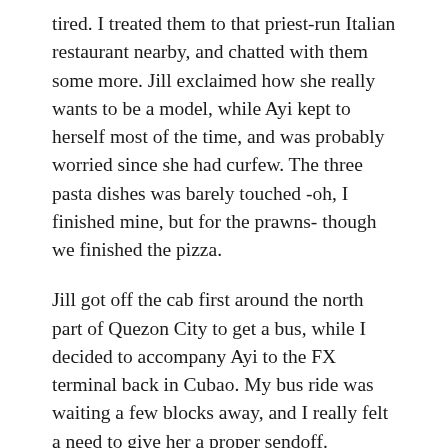tired. I treated them to that priest-run Italian restaurant nearby, and chatted with them some more. Jill exclaimed how she really wants to be a model, while Ayi kept to herself most of the time, and was probably worried since she had curfew. The three pasta dishes was barely touched -oh, I finished mine, but for the prawns- though we finished the pizza.
Jill got off the cab first around the north part of Quezon City to get a bus, while I decided to accompany Ayi to the FX terminal back in Cubao. My bus ride was waiting a few blocks away, and I really felt a need to give her a proper sendoff.
The digital photos were fine, the goofy shots were winners. The outdoor shoot photos left a lot to be desired though, but there was a salvageable handful. About a week passed before I had the time